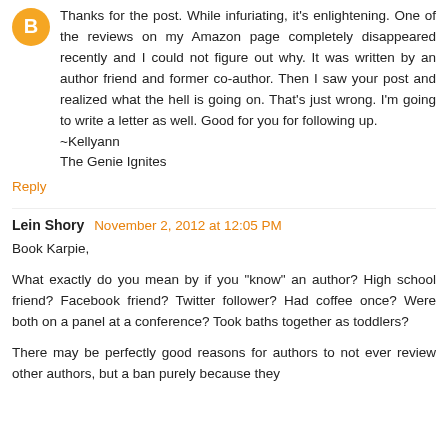[Figure (other): Orange circular blogger avatar icon]
Thanks for the post. While infuriating, it's enlightening. One of the reviews on my Amazon page completely disappeared recently and I could not figure out why. It was written by an author friend and former co-author. Then I saw your post and realized what the hell is going on. That's just wrong. I'm going to write a letter as well. Good for you for following up.
~Kellyann
The Genie Ignites
Reply
Lein Shory November 2, 2012 at 12:05 PM
Book Karpie,
What exactly do you mean by if you "know" an author? High school friend? Facebook friend? Twitter follower? Had coffee once? Were both on a panel at a conference? Took baths together as toddlers?
There may be perfectly good reasons for authors to not ever review other authors, but a ban purely because they